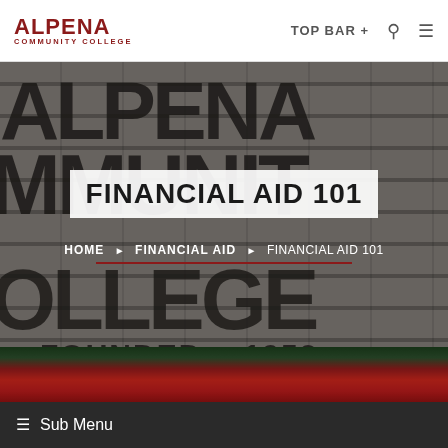ALPENA COMMUNITY COLLEGE — TOP BAR + [search] [menu]
[Figure (photo): Alpena Community College stone entrance sign with large raised letters spelling ALPENA COMMUNITY COLLEGE, red flowers in foreground, outdoor daylight photo]
FINANCIAL AID 101
HOME ▶ FINANCIAL AID ▶ FINANCIAL AID 101
≡ Sub Menu